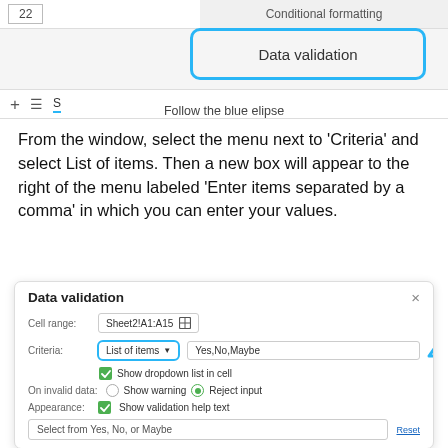[Figure (screenshot): Google Sheets UI showing a context menu with 'Conditional formatting' and 'Data validation' options, the Data validation item highlighted with a blue rounded rectangle outline. Below is a sheet tab row with +, menu icons and a tab label 'S'.]
Follow the blue elipse
From the window, select the menu next to 'Criteria' and select List of items. Then a new box will appear to the right of the menu labeled 'Enter items separated by a comma' in which you can enter your values.
[Figure (screenshot): Data validation dialog box showing: Cell range: Sheet2!A1:A15, Criteria: List of items (blue outlined) with Yes,No,Maybe text box and a blue upward arrow annotation, Show dropdown list in cell checkbox checked, On invalid data: Show warning / Reject input (Reject input selected), Appearance: Show validation help text checked, and a text input 'Select from Yes, No, or Maybe' with a Reset link.]